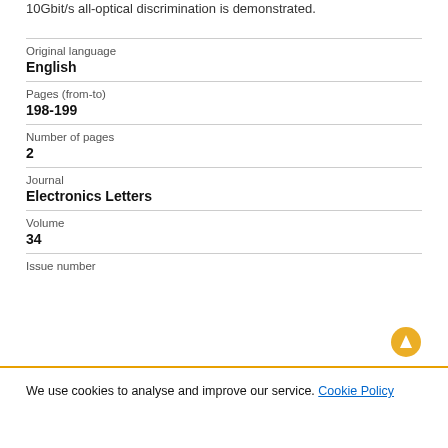10Gbit/s all-optical discrimination is demonstrated.
| Original language | English |
| Pages (from-to) | 198-199 |
| Number of pages | 2 |
| Journal | Electronics Letters |
| Volume | 34 |
| Issue number |  |
We use cookies to analyse and improve our service. Cookie Policy